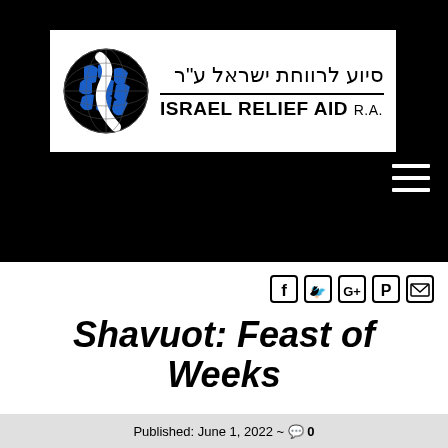[Figure (logo): Israel Relief Aid R.A. logo with globe icon and Hebrew text סיוע לרווחת ישראל ע"ר and English text ISRAEL RELIEF AID R.A.]
[Figure (other): Hamburger menu icon (three horizontal white lines) in top-right area on black background]
[Figure (other): Social media icons: Facebook, Twitter, Google+, Pinterest, Email]
Shavuot: Feast of Weeks
Published: June 1, 2022 ~ 0